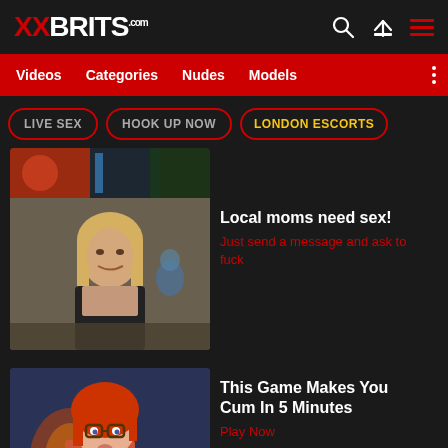XXBRITS.com
Videos
Categories
Nudes
Models
LIVE SEX
HOOK UP NOW
LONDON ESCORTS
[Figure (photo): Top strip showing partial scene with red and green lighting]
[Figure (photo): Middle-aged blonde woman smiling at camera in restaurant/cafe setting]
Local moms need sex! Just send a message and ask to fuck
[Figure (illustration): Animated redhead woman with glasses]
This Game Makes You Cum In 5 Minutes Play Now